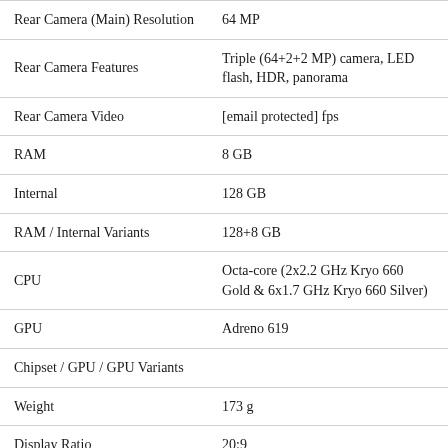| Feature | Value |
| --- | --- |
| Rear Camera (Main) Resolution | 64 MP |
| Rear Camera Features | Triple (64+2+2 MP) camera, LED flash, HDR, panorama |
| Rear Camera Video | [email protected] fps |
| RAM | 8 GB |
| Internal | 128 GB |
| RAM / Internal Variants | 128+8 GB |
| CPU | Octa-core (2x2.2 GHz Kryo 660 Gold & 6x1.7 GHz Kryo 660 Silver) |
| GPU | Adreno 619 |
| Chipset / GPU / GPU Variants |  |
| Weight | 173 g |
| Display Ratio | 20:9 |
| Display Type | AMOLED |
| Display Features | Schott Xensation Up |